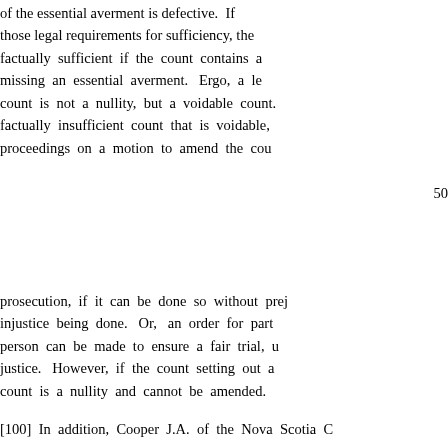of the essential averment is defective.  If those legal requirements for sufficiency, the factually sufficient if the count contains a missing an essential averment.  Ergo, a le count is not a nullity, but a voidable count. factually insufficient count that is voidable, proceedings on a motion to amend the cou
50
prosecution, if it can be done so without prej injustice being done.  Or, an order for part person can be made to ensure a fair trial, u justice.  However, if the count setting out a count is a nullity and cannot be amended.
[100]  In addition, Cooper J.A. of the Nova Scotia C